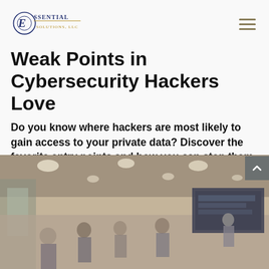Essential Solutions LLC
Weak Points in Cybersecurity Hackers Love
Do you know where hackers are most likely to gain access to your private data? Discover the favorite entry points and how you can stop them.
[Figure (photo): Blurred image of business people in a modern office conference room with overhead lights and a presentation screen in the background]